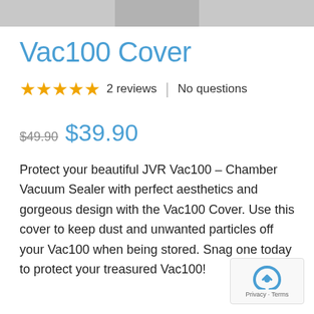[Figure (photo): Partial product image strip at top of page]
Vac100 Cover
★★★★★ 2 reviews | No questions
$49.90 $39.90
Protect your beautiful JVR Vac100 – Chamber Vacuum Sealer with perfect aesthetics and gorgeous design with the Vac100 Cover. Use this cover to keep dust and unwanted particles off your Vac100 when being stored. Snag one today to protect your treasured Vac100!